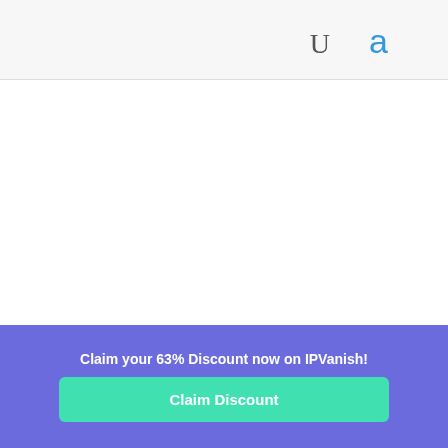U  a
Claim your 63% Discount now on IPVanish!
Claim Discount